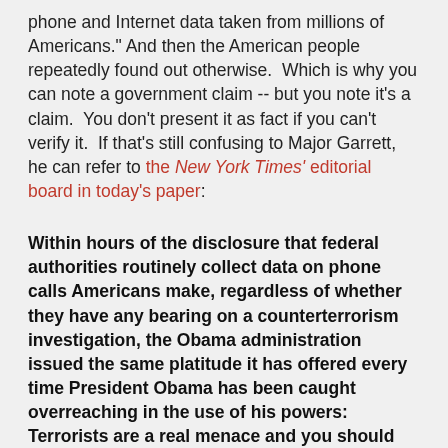phone and Internet data taken from millions of Americans." And then the American people repeatedly found out otherwise.  Which is why you can note a government claim -- but you note it's a claim.  You don't present it as fact if you can't verify it.  If that's still confusing to Major Garrett, he can refer to the New York Times' editorial board in today's paper:
Within hours of the disclosure that federal authorities routinely collect data on phone calls Americans make, regardless of whether they have any bearing on a counterterrorism investigation, the Obama administration issued the same platitude it has offered every time President Obama has been caught overreaching in the use of his powers: Terrorists are a real menace and you should just trust us to deal with them because we have internal mechanisms (that we are not going to tell you about) to make sure we do not violate your